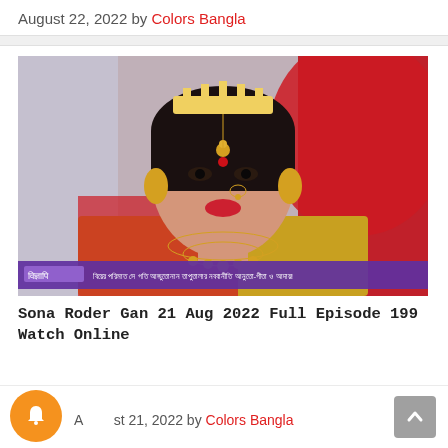August 22, 2022 by Colors Bangla
[Figure (photo): A woman dressed as a bride in traditional Indian/Bengali bridal attire including a tiara, maang tikka, nose ring, heavy gold necklace and earrings, red saree and veil. A TV channel banner with Bengali text is overlaid at the bottom of the image.]
Sona Roder Gan 21 Aug 2022 Full Episode 199 Watch Online
August 21, 2022 by Colors Bangla